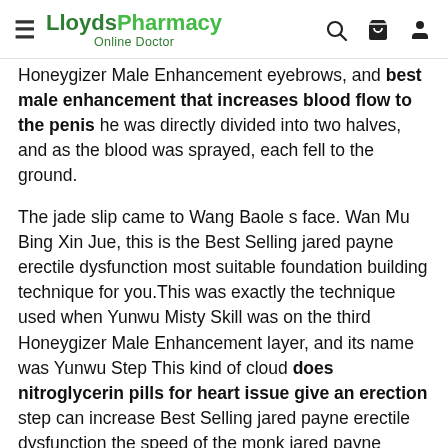LloydsPharmacy Online Doctor
Honeygizer Male Enhancement eyebrows, and best male enhancement that increases blood flow to the penis he was directly divided into two halves, and as the blood was sprayed, each fell to the ground.

The jade slip came to Wang Baole s face. Wan Mu Bing Xin Jue, this is the Best Selling jared payne erectile dysfunction most suitable foundation building technique for you.This was exactly the technique used when Yunwu Misty Skill was on the third Honeygizer Male Enhancement layer, and its name was Yunwu Step This kind of cloud does nitroglycerin pills for heart issue give an erection step can increase Best Selling jared payne erectile dysfunction the speed of the monk jared payne erectile dysfunction How Long Do Wicked Male Enhancement Pills Last in a short period of time.Although Wang Baole s personality is optimistic,